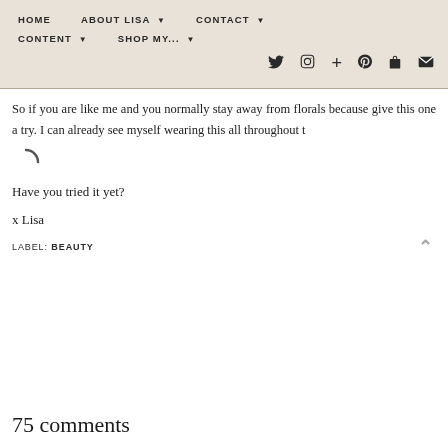HOME   ABOUT LISA ▾   CONTACT ▾   CONTENT ▾   SHOP MY... ▾
[Figure (infographic): Social media icons row: Twitter, Instagram, plus, Pinterest, bag, email]
So if you are like me and you normally stay away from florals because give this one a try. I can already see myself wearing this all throughout t
[Figure (other): Loading spinner / circular loading icon]
Have you tried it yet?
x Lisa
LABEL: BEAUTY
75 comments